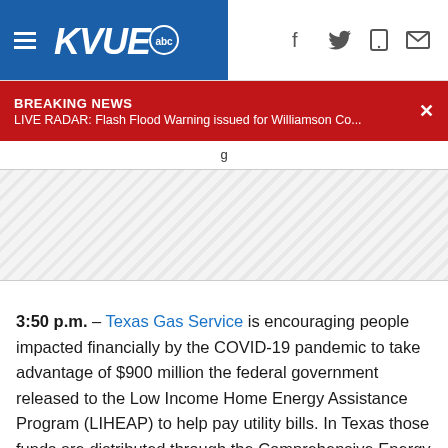KVUE abc
BREAKING NEWS
LIVE RADAR: Flash Flood Warning issued for Williamson Co...
[Figure (other): Ad placeholder area with diagonal hatching pattern]
3:50 p.m. – Texas Gas Service is encouraging people impacted financially by the COVID-19 pandemic to take advantage of $900 million the federal government released to the Low Income Home Energy Assistance Program (LIHEAP) to help pay utility bills. In Texas those funds are distributed through the Comprehensive Energy Assistance Program (CEAP).